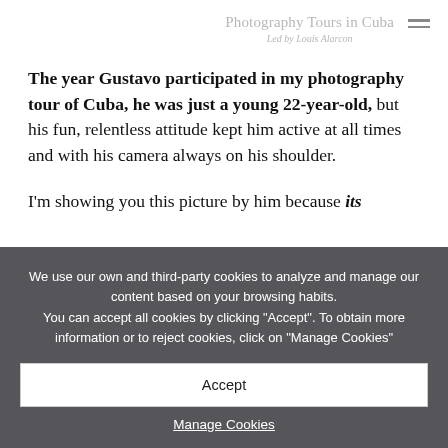Photography Tours in Cuba
Led by Louis Alarcon
The year Gustavo participated in my photography tour of Cuba, he was just a young 22-year-old, but his fun, relentless attitude kept him active at all times and with his camera always on his shoulder.
I'm showing you this picture by him because its ...
We use our own and third-party cookies to analyze and manage our content based on your browsing habits. You can accept all cookies by clicking "Accept". To obtain more information or to reject cookies, click on "Manage Cookies"